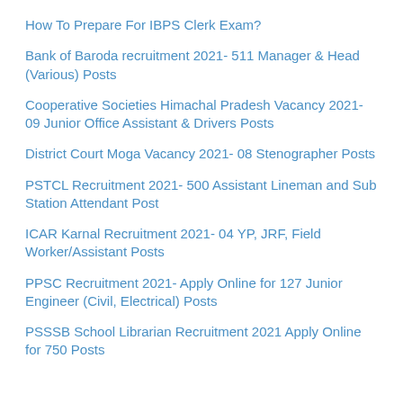How To Prepare For IBPS Clerk Exam?
Bank of Baroda recruitment 2021- 511 Manager & Head (Various) Posts
Cooperative Societies Himachal Pradesh Vacancy 2021- 09 Junior Office Assistant & Drivers Posts
District Court Moga Vacancy 2021- 08 Stenographer Posts
PSTCL Recruitment 2021- 500 Assistant Lineman and Sub Station Attendant Post
ICAR Karnal Recruitment 2021- 04 YP, JRF, Field Worker/Assistant Posts
PPSC Recruitment 2021- Apply Online for 127 Junior Engineer (Civil, Electrical) Posts
PSSSB School Librarian Recruitment 2021 Apply Online for 750 Posts